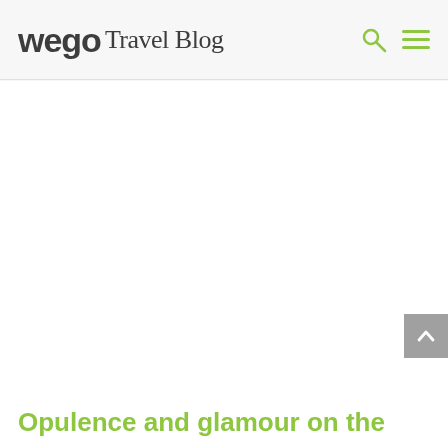wego Travel Blog
[Figure (other): Large white/blank content area, possibly a hero image placeholder]
[Figure (other): Back to top button (grey square with upward chevron arrow)]
Opulence and glamour on the